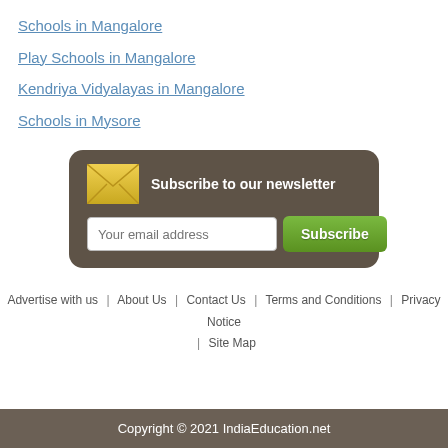Schools in Mangalore
Play Schools in Mangalore
Kendriya Vidyalayas in Mangalore
Schools in Mysore
[Figure (infographic): Newsletter subscription box with envelope icon, title 'Subscribe to our newsletter', email input field and green Subscribe button]
Advertise with us | About Us | Contact Us | Terms and Conditions | Privacy Notice | Site Map
Copyright © 2021 IndiaEducation.net